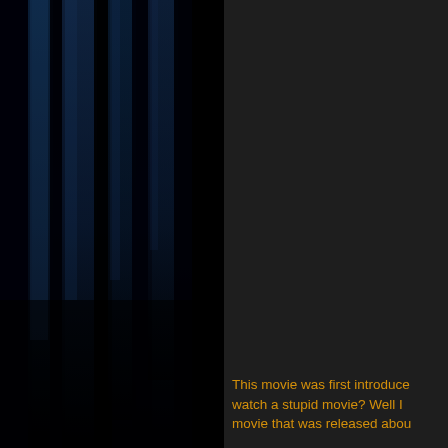[Figure (photo): Dark blue theatrical curtain or fabric with vertical folds and dramatic lighting, occupying the left half of the page]
This movie was first introduce watch a stupid movie? Well I movie that was released abou